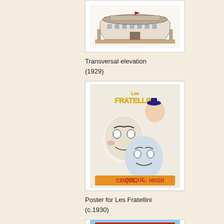[Figure (illustration): Architectural drawing of a circular building - transversal elevation (1929)]
Transversal elevation (1929)
[Figure (illustration): Poster for Les Fratellini at Cirque d'Hiver showing three clown faces]
Poster for Les Fratellini (c.1930)
[Figure (illustration): Cirque d'Hiver poster showing clowns and building facade]